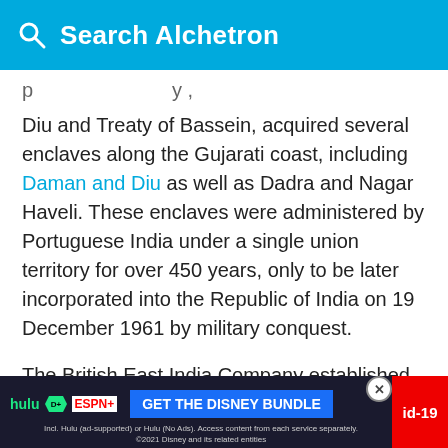Search Alchetron
Diu and Treaty of Bassein, acquired several enclaves along the Gujarati coast, including Daman and Diu as well as Dadra and Nagar Haveli. These enclaves were administered by Portuguese India under a single union territory for over 450 years, only to be later incorporated into the Republic of India on 19 December 1961 by military conquest.
The British East India Company established a factory in Surat in 1614 following the commercial treaty made with Mughal Emperor Nuruddin Salim Jahangir, which formed their first base in India, but it was... recei...